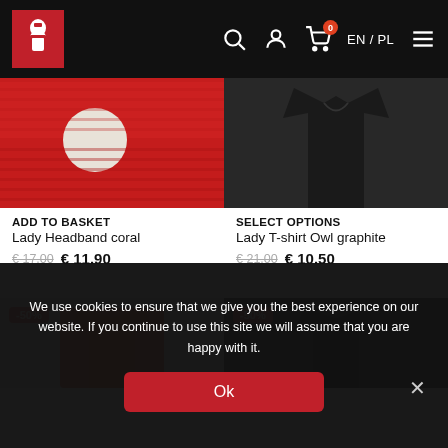[Figure (screenshot): E-commerce website header with red logo icon on black background, search icon, user icon, cart icon with badge '0', EN/PL language switcher, and hamburger menu]
[Figure (photo): Red knitted Lady Headband coral product image showing top portion of red headband with circular logo patch]
ADD TO BASKET
Lady Headband coral
€ 17.00  € 11.90
[Figure (photo): Dark graphite Lady T-shirt Owl showing upper portion of black t-shirt on dark background]
SELECT OPTIONS
Lady T-shirt Owl graphite
€ 21.00  € 10.50
[Figure (photo): Two partially visible product images in second row, both with -50% badge, left product is orange/red shirt, right product is black shirt]
We use cookies to ensure that we give you the best experience on our website. If you continue to use this site we will assume that you are happy with it.